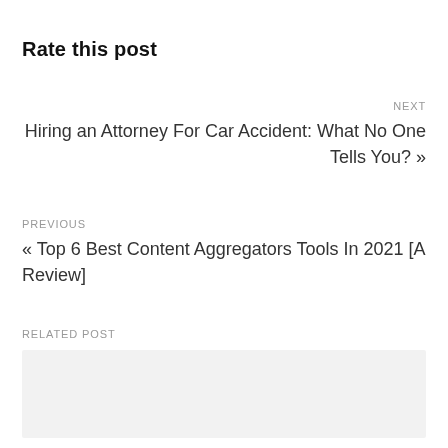Rate this post
NEXT
Hiring an Attorney For Car Accident: What No One Tells You? »
PREVIOUS
« Top 6 Best Content Aggregators Tools In 2021 [A Review]
RELATED POST
[Figure (other): Light gray placeholder box for a related post image or content]